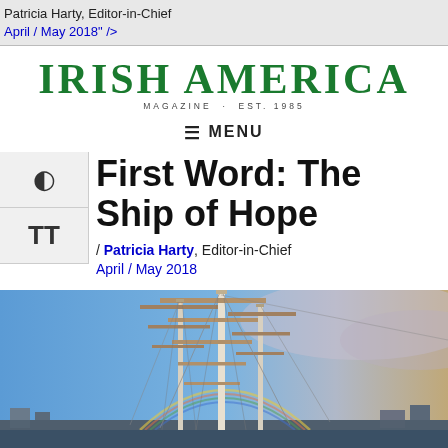Patricia Harty, Editor-in-Chief
April / May 2018" />
[Figure (logo): Irish America Magazine logo with green serif text and subtitle 'MAGAZINE · EST. 1985']
≡  MENU
First Word: The Ship of Hope
By Patricia Harty, Editor-in-Chief
April / May 2018
[Figure (photo): Tall ship masts and rigging against a blue and grey sky with a rainbow visible at the base of the masts, with city buildings in the background]